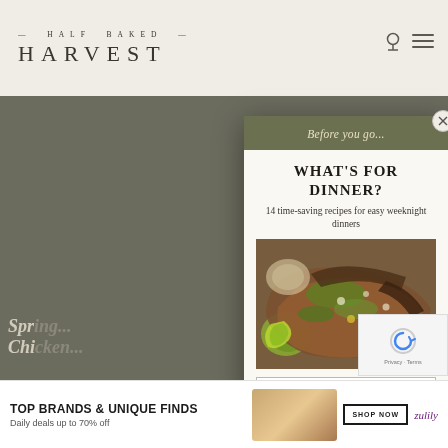HALF BAKED HARVEST
[Figure (screenshot): Modal popup newsletter signup overlay on Half Baked Harvest food blog. Contains banner text 'Before you go...', headline 'WHAT'S FOR DINNER?', subtitle '14 time-saving recipes for easy weeknight dinners', food photo of tacos/flatbreads with cilantro and lime, name input, email input, submit button 'SEND ME THE RECIPES', and fine print. Background shows blurred website content.]
Before you go...
WHAT'S FOR DINNER?
14 time-saving recipes for easy weeknight dinners
Your Name
Your Email
SEND ME THE RECIPES
I'd like to receive more tips & recipes from Half Baked Harvest.
TOP BRANDS & UNIQUE FINDS
Daily deals up to 70% off
SHOP NOW
Zulily